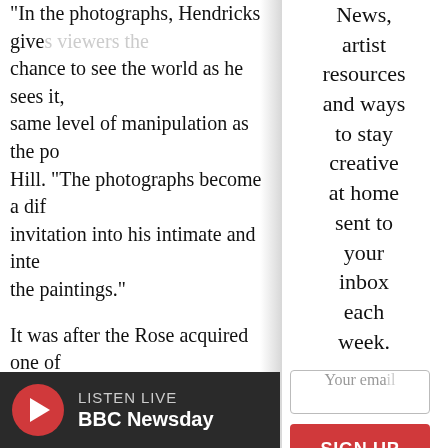“In the photographs, Hendricks gives viewers the chance to see the world as he sees it, using the same level of manipulation as the po[rtraits],” said Hill. “The photographs become a dif[ferent] invitation into his intimate and inte[rior world than] the paintings.”
It was after the Rose acquired one of [Hendricks’] self-portraits in 2021, featuring the a[rtist in] a big black hat, that the museum beg[an thinking] about doing a broader show on Hend[ricks, a] much beloved African American arti[st who has] inspired subsequent generations of A[frican] American portrait painters, includin[g]
News, artist resources and ways to stay creative at home sent to your inbox each week.
Your email
SIGN UP
LISTEN EN LIVE
BBC Newsday